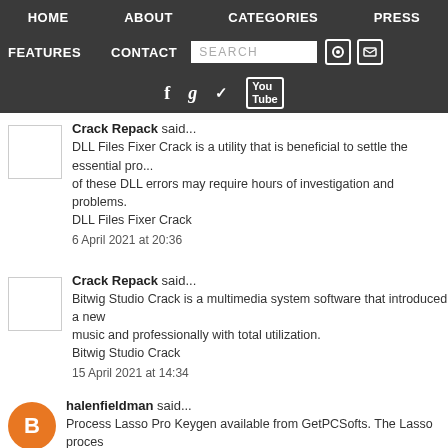HOME  ABOUT  CATEGORIES  PRESS  FEATURES  CONTACT  SEARCH
Crack Repack said...
DLL Files Fixer Crack is a utility that is beneficial to settle the essential problems of these DLL errors may require hours of investigation and problems.
DLL Files Fixer Crack
6 April 2021 at 20:36
Crack Repack said...
Bitwig Studio Crack is a multimedia system software that introduced a new music and professionally with total utilization.
Bitwig Studio Crack
15 April 2021 at 14:34
halenfieldman said...
Process Lasso Pro Keygen available from GetPCSofts. The Lasso process choosing first contact...